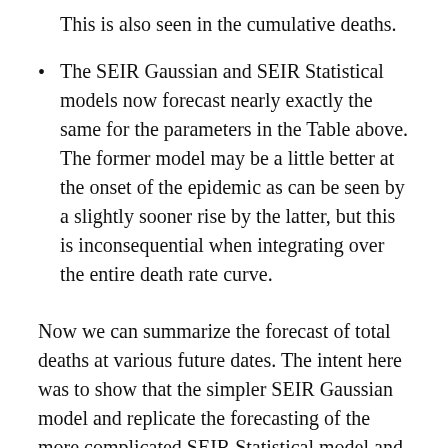This is also seen in the cumulative deaths.
The SEIR Gaussian and SEIR Statistical models now forecast nearly exactly the same for the parameters in the Table above. The former model may be a little better at the onset of the epidemic as can be seen by a slightly sooner rise by the latter, but this is inconsequential when integrating over the entire death rate curve.
Now we can summarize the forecast of total deaths at various future dates. The intent here was to show that the simpler SEIR Gaussian model and replicate the forecasting of the more complicated SEIR Statistical model and they are very close as you can see, but this was made